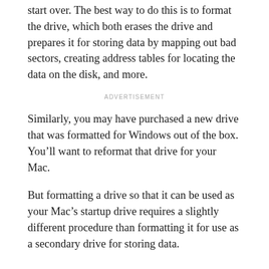start over. The best way to do this is to format the drive, which both erases the drive and prepares it for storing data by mapping out bad sectors, creating address tables for locating the data on the disk, and more.
ADVERTISEMENT
Similarly, you may have purchased a new drive that was formatted for Windows out of the box. You’ll want to reformat that drive for your Mac.
But formatting a drive so that it can be used as your Mac’s startup drive requires a slightly different procedure than formatting it for use as a secondary drive for storing data.